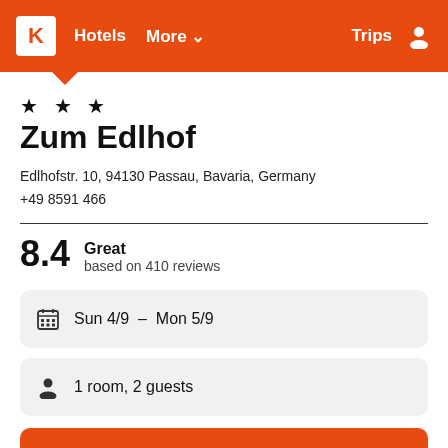K Hotels More Trips
★ ★ ★
Zum Edlhof
Edlhofstr. 10, 94130 Passau, Bavaria, Germany
+49 8591 466
8.4 Great based on 410 reviews
Sun 4/9 – Mon 5/9
1 room, 2 guests
Search